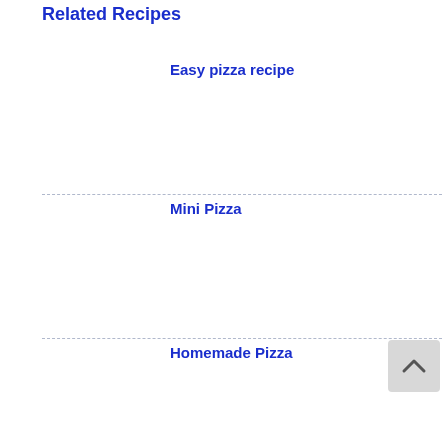Related Recipes
Easy pizza recipe
Mini Pizza
Homemade Pizza